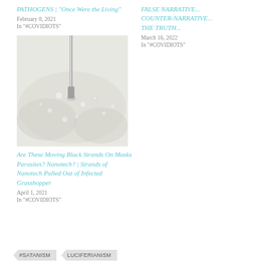PATHOGENS | “Once Were the Living”
February 8, 2021
In "#COVIDIOTS"
FALSE NARRATIVE... COUNTER-NARRATIVE... THE TRUTH...
March 16, 2022
In "#COVIDIOTS"
[Figure (photo): Close-up photo of what appears to be a white/pale substrate with a metallic implement or needle inserted into it, with small round particles visible]
Are These Moving Black Strands On Masks Parasites? Nanotech? | Strands of Nanotech Pulled Out of Infected Grasshopper
April 1, 2021
In "#COVIDIOTS"
#SATANISM
LUCIFERIANISM